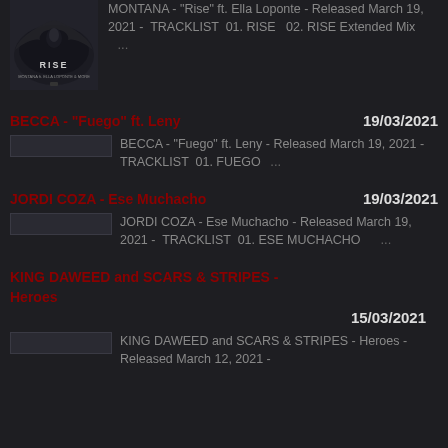[Figure (photo): Album art for RISE - dark image with wings/bird, text RISE visible]
MONTANA - "Rise" ft. Ella Loponte - Released March 19, 2021 -  TRACKLIST  01. RISE  02. RISE Extended Mix  ...
BECCA - "Fuego" ft. Leny   19/03/2021
BECCA - "Fuego" ft. Leny - Released March 19, 2021 -  TRACKLIST  01. FUEGO  ...
JORDI COZA - Ese Muchacho   19/03/2021
JORDI COZA - Ese Muchacho - Released March 19, 2021 -  TRACKLIST  01. ESE MUCHACHO  ...
KING DAWEED and SCARS & STRIPES - Heroes   15/03/2021
KING DAWEED and SCARS & STRIPES - Heroes - Released March 12, 2021 -